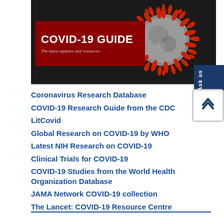[Figure (photo): COVID-19 Guide banner with red label box showing 'COVID-19 GUIDE' title and 'The latest updates and resources' subtitle, alongside a dark background microscope image of the coronavirus.]
Coronavirus Research Database
COVID-19 Research Guide from the CDC
LitCovid
Global Research on COVID-19 by WHO
Latest NIH Research on COVID-19
Clinical Trials for COVID-19
COVID-19 Studies from the World Health Organization Database
JAMA Network COVID-19 collection
The Lancet: COVID-19 Resource Centre